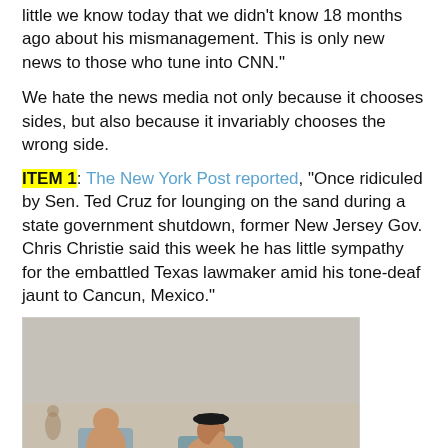little we know today that we didn't know 18 months ago about his mismanagement. This is only new news to those who tune into CNN."
We hate the news media not only because it chooses sides, but also because it invariably chooses the wrong side.
ITEM 1: The New York Post reported, "Once ridiculed by Sen. Ted Cruz for lounging on the sand during a state government shutdown, former New Jersey Gov. Chris Christie said this week he has little sympathy for the embattled Texas lawmaker amid his tone-deaf jaunt to Cancun, Mexico."
[Figure (photo): Photo of people lounging on a beach in chairs, sandy beach setting, appearing to be Gov. Chris Christie incident reference photo]